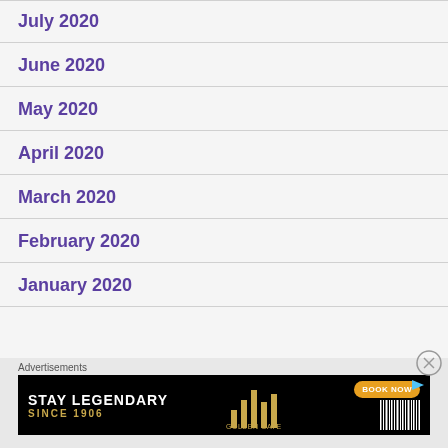July 2020
June 2020
May 2020
April 2020
March 2020
February 2020
January 2020
Advertisements
[Figure (screenshot): Advertisement banner: STAY LEGENDARY SINCE 1906 GOLDEN GATE with BOOK NOW button]